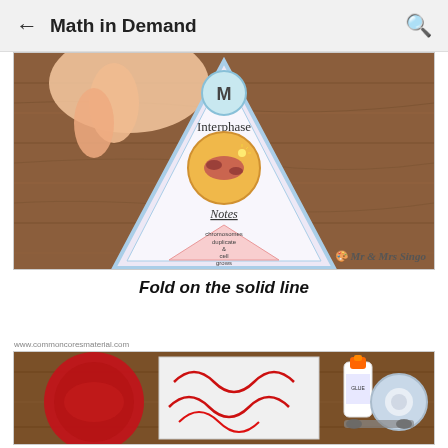Math in Demand
[Figure (photo): Hand holding a triangular paper foldable showing 'Interphase' with a cell diagram and notes section about chromosomes duplicating and cell growing. Background is a wooden surface. Watermark reads 'Mr & Mrs Singo'.]
Fold on the solid line
[Figure (photo): Photo of red yarn/thread and craft supplies including scissors, tape, and glue on a wooden surface. URL www.commoncoresmaterial.com shown above.]